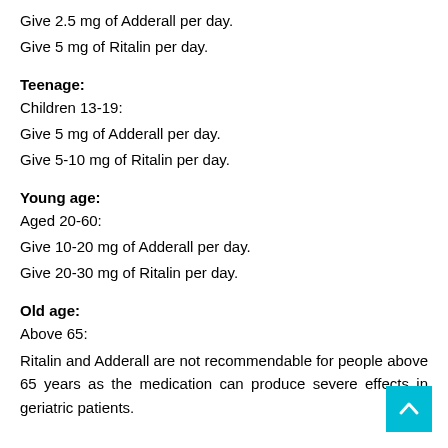Give 2.5 mg of Adderall per day.
Give 5 mg of Ritalin per day.
Teenage:
Children 13-19:
Give 5 mg of Adderall per day.
Give 5-10 mg of Ritalin per day.
Young age:
Aged 20-60:
Give 10-20 mg of Adderall per day.
Give 20-30 mg of Ritalin per day.
Old age:
Above 65:
Ritalin and Adderall are not recommendable for people above 65 years as the medication can produce severe effects in geriatric patients.